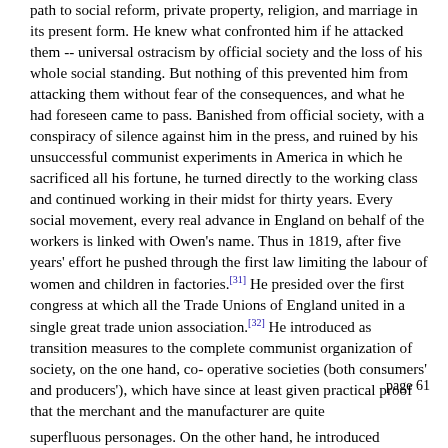path to social reform, private property, religion, and marriage in its present form. He knew what confronted him if he attacked them -- universal ostracism by official society and the loss of his whole social standing. But nothing of this prevented him from attacking them without fear of the consequences, and what he had foreseen came to pass. Banished from official society, with a conspiracy of silence against him in the press, and ruined by his unsuccessful communist experiments in America in which he sacrificed all his fortune, he turned directly to the working class and continued working in their midst for thirty years. Every social movement, every real advance in England on behalf of the workers is linked with Owen's name. Thus in 1819, after five years' effort he pushed through the first law limiting the labour of women and children in factories.[31] He presided over the first congress at which all the Trade Unions of England united in a single great trade union association.[32] He introduced as transition measures to the complete communist organization of society, on the one hand, co-operative societies (both consumers' and producers'), which have since at least given practical proof that the merchant and the manufacturer are quite
page 61
superfluous personages. On the other hand, he introduced